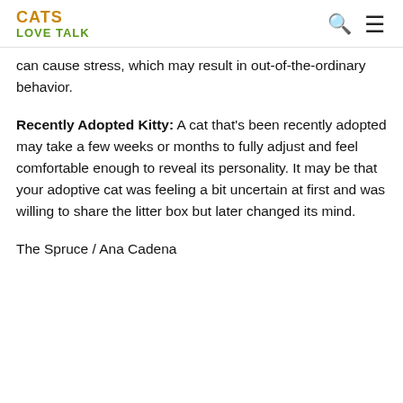CATS LOVE TALK
can cause stress, which may result in out-of-the-ordinary behavior.
Recently Adopted Kitty: A cat that's been recently adopted may take a few weeks or months to fully adjust and feel comfortable enough to reveal its personality. It may be that your adoptive cat was feeling a bit uncertain at first and was willing to share the litter box but later changed its mind.
The Spruce / Ana Cadena